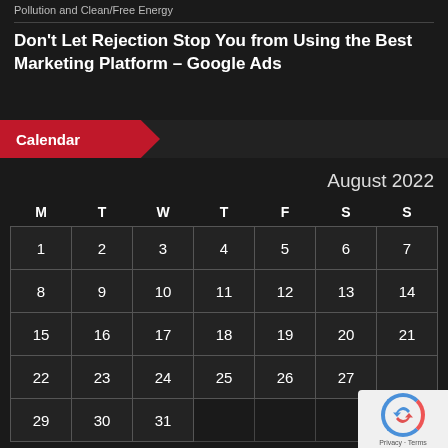Don't Let Rejection Stop You from Using the Best Marketing Platform – Google Ads
Calendar
August 2022
| M | T | W | T | F | S | S |
| --- | --- | --- | --- | --- | --- | --- |
| 1 | 2 | 3 | 4 | 5 | 6 | 7 |
| 8 | 9 | 10 | 11 | 12 | 13 | 14 |
| 15 | 16 | 17 | 18 | 19 | 20 | 21 |
| 22 | 23 | 24 | 25 | 26 | 27 | 28 |
| 29 | 30 | 31 |  |  |  |  |